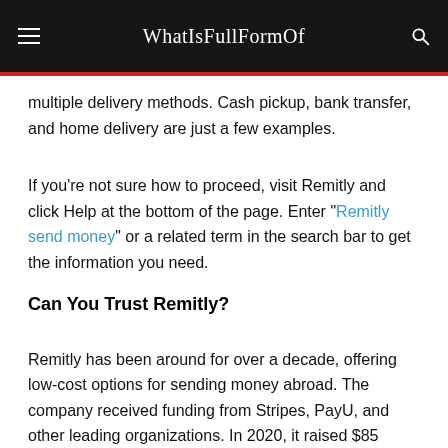WhatIsFullFormOf
multiple delivery methods. Cash pickup, bank transfer, and home delivery are just a few examples.
If you're not sure how to proceed, visit Remitly and click Help at the bottom of the page. Enter “Remitly send money” or a related term in the search bar to get the information you need.
Can You Trust Remitly?
Remitly has been around for over a decade, offering low-cost options for sending money abroad. The company received funding from Stripes, PayU, and other leading organizations. In 2020, it raised $85 million in equity.
Its market value is increasing from one year to the next. Currently, it offers faster transfers, lowers fees, and better exchange rates than its competitors. In 2019, it made the Forbes! Fintech 50 list.